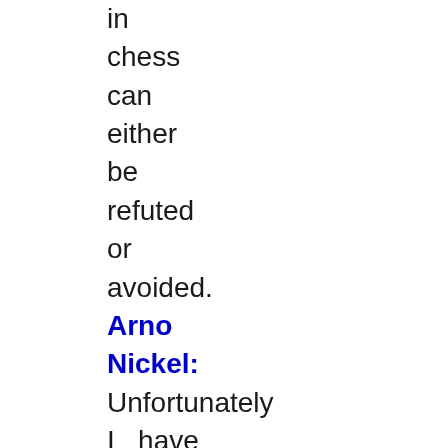in chess can either be refuted or avoided.
Arno Nickel: Unfortunately I have only very little spared time for opening preparation. So I